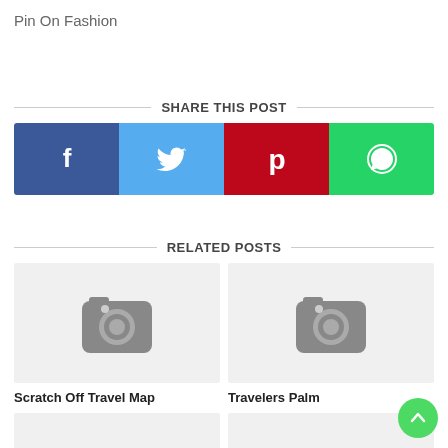Pin On Fashion
SHARE THIS POST
[Figure (infographic): Social share buttons: Facebook (blue), Twitter (light blue), Pinterest (red), WhatsApp (green)]
RELATED POSTS
[Figure (photo): Related post thumbnail placeholder with camera icon]
Scratch Off Travel Map
[Figure (photo): Related post thumbnail placeholder with camera icon]
Travelers Palm